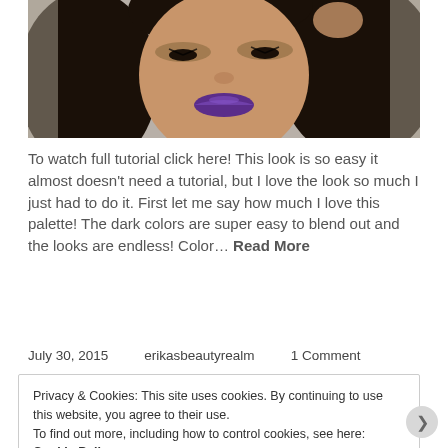[Figure (photo): A woman with curly dark hair and purple lipstick, wearing glamorous eye makeup, looking downward. She has her hand raised near her head against a shimmery background.]
To watch full tutorial click here! This look is so easy it almost doesn't need a tutorial, but I love the look so much I just had to do it. First let me say how much I love this palette! The dark colors are super easy to blend out and the looks are endless! Color… Read More
July 30, 2015    erikasbeautyrealm    1 Comment
Privacy & Cookies: This site uses cookies. By continuing to use this website, you agree to their use.
To find out more, including how to control cookies, see here: Cookie Policy
Close and accept